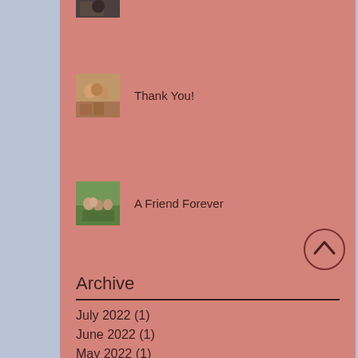[Figure (photo): Partial view of a photo at the top (cropped), dark tones]
[Figure (photo): Group photo of several people indoors]
Thank You!
[Figure (photo): Group photo of people outdoors]
A Friend Forever
[Figure (other): Scroll-to-top button with upward chevron icon]
Archive
July 2022 (1)
June 2022 (1)
May 2022 (1)